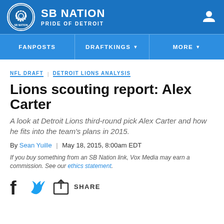SB NATION — PRIDE OF DETROIT
FANPOSTS | DRAFTKINGS | MORE
NFL DRAFT  DETROIT LIONS ANALYSIS
Lions scouting report: Alex Carter
A look at Detroit Lions third-round pick Alex Carter and how he fits into the team's plans in 2015.
By Sean Yuille  |  May 18, 2015, 8:00am EDT
If you buy something from an SB Nation link, Vox Media may earn a commission. See our ethics statement.